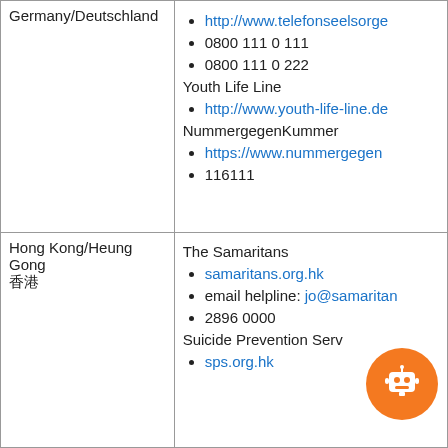| Country | Resources |
| --- | --- |
| Germany/Deutschland | Telefonseelsorge
http://www.telefonseelsorge...
0800 111 0 111
0800 111 0 222
Youth Life Line
http://www.youth-life-line.de
NummergegenKummer
https://www.nummergegen...
116111 |
| Hong Kong/Heung Gong | The Samaritans
samaritans.org.hk
email helpline: jo@samaritan...
2896 0000
Suicide Prevention Serv...
sps.org.hk |